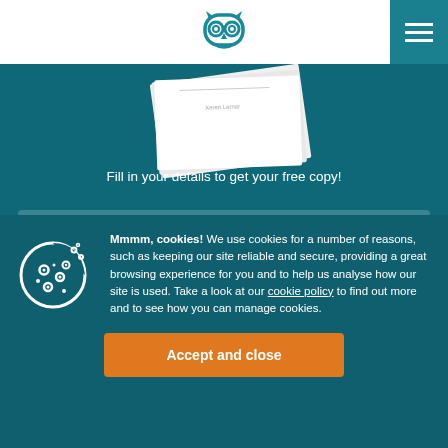Owl logo and navigation menu
[Figure (illustration): Partial view of a book/document with text 'Xeren Lerner' visible on a teal background]
Fill in your details to get your free copy!
Full name
Mmmm, cookies! We use cookies for a number of reasons, such as keeping our site reliable and secure, providing a great browsing experience for you and to help us analyse how our site is used. Take a look at our cookie policy to find out more and to see how you can manage cookies.
Accept and close